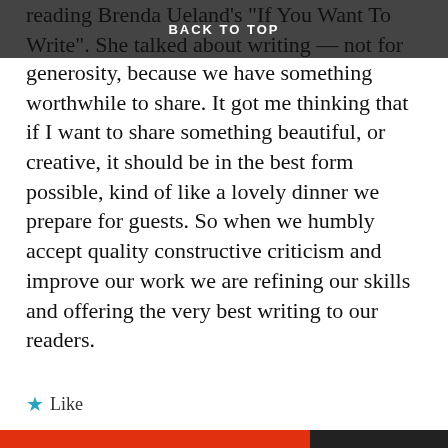BACK TO TOP
reading Brenda Ueland's "If You Want To Write". She talked about writing — not for praise — but out of generosity, because we have something worthwhile to share. It got me thinking that if I want to share something beautiful, or creative, it should be in the best form possible, kind of like a lovely dinner we prepare for guests. So when we humbly accept quality constructive criticism and improve our work we are refining our skills and offering the very best writing to our readers.
★ Like
Reply ›
Privacy & Cookies: This site uses cookies. By continuing to use this website, you agree to their use. To find out more, including how to control cookies, see here: Cookie Policy
Close and accept